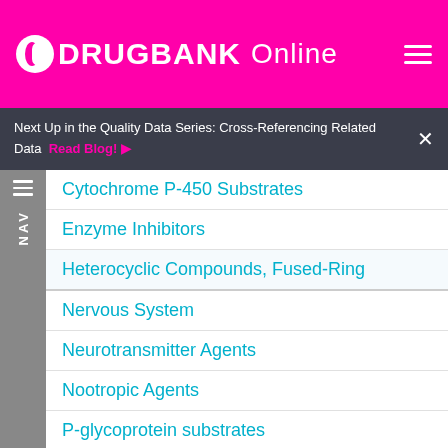DRUGBANK Online
Next Up in the Quality Data Series: Cross-Referencing Related Data  Read Blog!
Cytochrome P-450 Substrates
Enzyme Inhibitors
Heterocyclic Compounds, Fused-Ring
Nervous System
Neurotransmitter Agents
Nootropic Agents
P-glycoprotein substrates
Parasympathomimetics
Peripheral Nervous System Agents
Psychoanaleptics